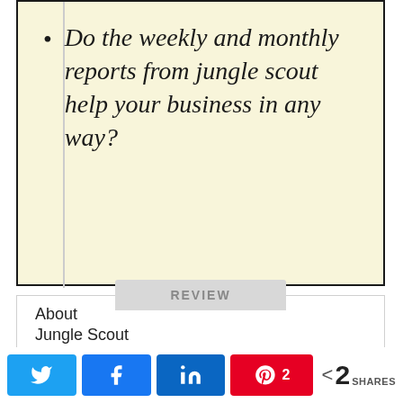Do the weekly and monthly reports from jungle scout help your business in any way?
REVIEW
About
Jungle Scout
Price